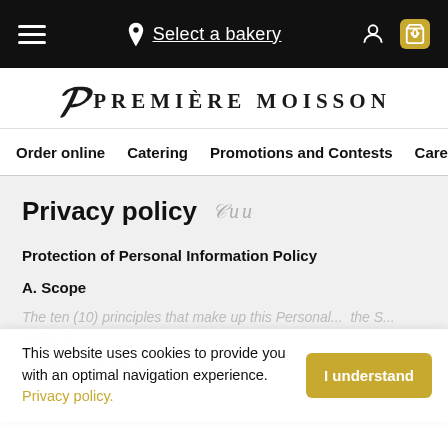Select a bakery
[Figure (logo): Première Moisson logo with stylized P and serif wordmark]
Order online  Catering  Promotions and Contests  Care
Privacy policy
Protection of Personal Information Policy
A. Scope
The ten (10) principles that make up this Personal... the S... Policy P... number... of the Site.
This website uses cookies to provide you with an optimal navigation experience. Privacy policy.